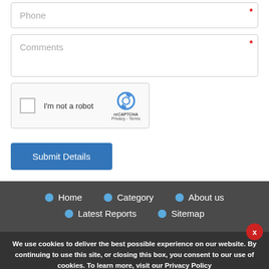[Figure (screenshot): Phone input field with placeholder text 'Phone' and red asterisk required marker in top right corner]
[Figure (screenshot): Comments textarea field with placeholder text 'Comments' and red asterisk required marker in top right corner]
[Figure (screenshot): reCAPTCHA widget with checkbox, 'I'm not a robot' text, reCAPTCHA logo, and Privacy/Terms links]
[Figure (screenshot): Blue 'Submit Details' button]
[Figure (screenshot): Dark footer navigation with blue dot bullet points for Home, Category, About us, Latest Reports, Sitemap links]
We use cookies to deliver the best possible experience on our website. By continuing to use this site, or closing this box, you consent to our use of cookies. To learn more, visit our Privacy Policy